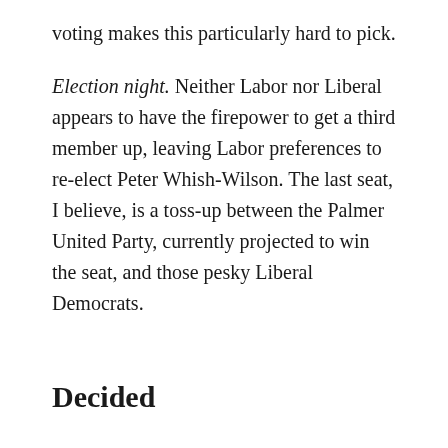voting makes this particularly hard to pick.

Election night. Neither Labor nor Liberal appears to have the firepower to get a third member up, leaving Labor preferences to re-elect Peter Whish-Wilson. The last seat, I believe, is a toss-up between the Palmer United Party, currently projected to win the seat, and those pesky Liberal Democrats.
Decided
New South Wales